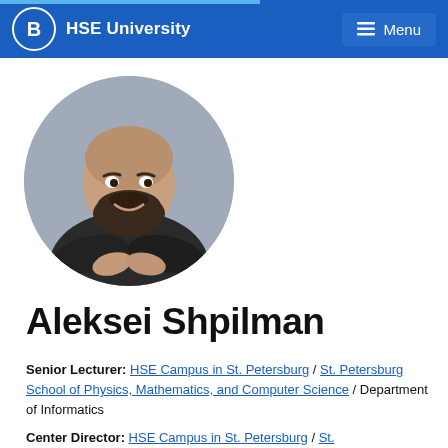HSE University  Menu
[Figure (photo): Circular profile photo of Aleksei Shpilman, a man with a shaved head and dark beard wearing a black shirt with arms crossed, smiling, against a grey background.]
Aleksei Shpilman
Senior Lecturer: HSE Campus in St. Petersburg / St. Petersburg School of Physics, Mathematics, and Computer Science / Department of Informatics
Center Director: HSE Campus in St. / St.